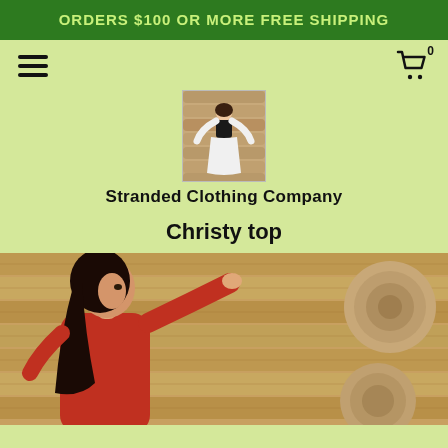ORDERS $100 OR MORE FREE SHIPPING
[Figure (screenshot): Website navigation bar with hamburger menu on left and shopping cart icon with badge '0' on right]
[Figure (photo): Logo image: woman in black corset and white flowing skirt standing against wooden log wall]
Stranded Clothing Company
Christy top
[Figure (photo): Woman with long dark hair wearing a red top, touching a wooden log slice mounted on a wooden wall backdrop]